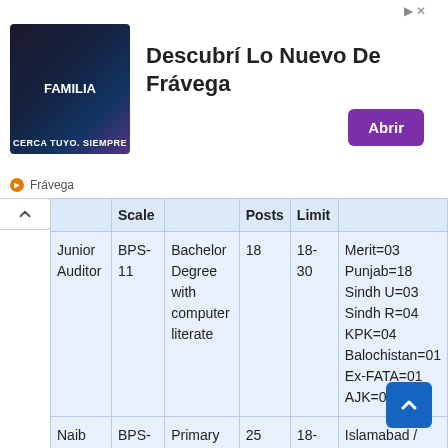[Figure (screenshot): Advertisement banner for Frávega with text 'Descubrí Lo Nuevo De Frávega', image of people in sportswear, and an 'Abrir' button]
|  | Scale |  | Posts | Limit |  |
| --- | --- | --- | --- | --- | --- |
| Junior Auditor | BPS-11 | Bachelor Degree with computer literate | 18 | 18-30 | Merit=03
Punjab=18
Sindh U=03
Sindh R=04
KPK=04
Balochistan=01
Ex-FATA=01
AJK=01 |
| Naib Qasid | BPS-01 | Primary Pass | 25 | 18-30 | Islamabad / Rawalpindi=9
Lahore=07 |